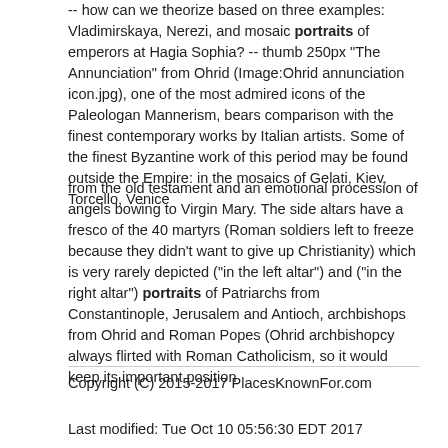-- how can we theorize based on three examples: Vladimirskaya, Nerezi, and mosaic portraits of emperors at Hagia Sophia? -- thumb 250px "The Annunciation" from Ohrid (Image:Ohrid annunciation icon.jpg), one of the most admired icons of the Paleologan Mannerism, bears comparison with the finest contemporary works by Italian artists. Some of the finest Byzantine work of this period may be found outside the Empire: in the mosaics of Gelati, Kiev, Torcello, Venice
from the old testament and an emotional procession of angels bowing to Virgin Mary. The side altars have a fresco of the 40 martyrs (Roman soldiers left to freeze because they didn't want to give up Christianity) which is very rarely depicted ("in the left altar") and ("in the right altar") portraits of Patriarchs from Constantinople, Jerusalem and Antioch, archbishops from Ohrid and Roman Popes (Ohrid archbishopcy always flirted with Roman Catholicism, so it would keep its important position
Copyright (C) 2015-2017 PlacesKnownFor.com

Last modified: Tue Oct 10 05:56:30 EDT 2017